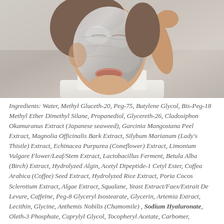[Figure (photo): Photo of a person wearing a silver/foil sheet face mask, wearing a white sleeveless top, with their hand raised near their face. The mask covers most of the face.]
Ingredients: Water, Methyl Gluceth-20, Peg-75, Butylene Glycol, Bis-Peg-18 Methyl Ether Dimethyl Silane, Propanediol, Glycereth-26, Cladosiphon Okamuranus Extract (Japanese seaweed), Garcinia Mangostana Peel Extract, Magnolia Officinalis Bark Extract, Silybum Marianum (Lady's Thistle) Extract, Echinacea Purpurea (Coneflower) Extract, Limonium Vulgare Flower/Leaf/Stem Extract, Lactobacillus Ferment, Betula Alba (Birch) Extract, Hydrolyzed Algin, Acetyl Dipeptide-1 Cetyl Ester, Coffea Arabica (Coffee) Seed Extract, Hydrolyzed Rice Extract, Poria Cocos Sclerotium Extract, Algae Extract, Squalane, Yeast Extract/Faex/Extrait De Levure, Caffeine, Peg-8 Glyceryl Isostearate, Glycerin, Artemia Extract, Lecithin, Glycine, Anthemis Nobilis (Chamomile) , Sodium Hyaluronate, Oleth-3 Phosphate, Caprylyl Glycol, Tocopheryl Acetate, Carbomer,